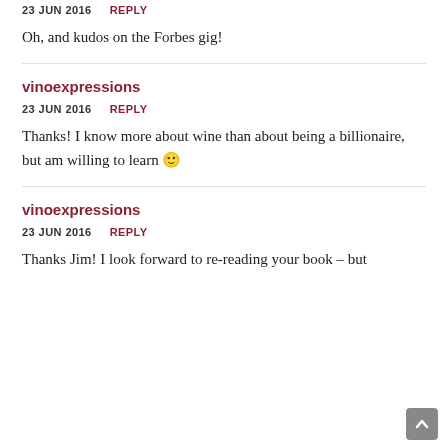23 JUN 2016   REPLY
Oh, and kudos on the Forbes gig!
vinoexpressions
23 JUN 2016   REPLY
Thanks! I know more about wine than about being a billionaire, but am willing to learn 🙂
vinoexpressions
23 JUN 2016   REPLY
Thanks Jim! I look forward to re-reading your book – but